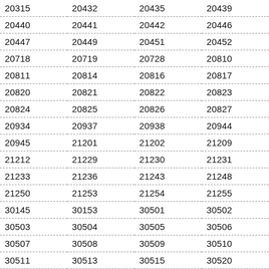| 20315 | 20432 | 20435 | 20439 |
| 20440 | 20441 | 20442 | 20446 |
| 20447 | 20449 | 20451 | 20452 |
| 20718 | 20719 | 20728 | 20810 |
| 20811 | 20814 | 20816 | 20817 |
| 20820 | 20821 | 20822 | 20823 |
| 20824 | 20825 | 20826 | 20827 |
| 20934 | 20937 | 20938 | 20944 |
| 20945 | 21201 | 21202 | 21209 |
| 21212 | 21229 | 21230 | 21231 |
| 21233 | 21236 | 21243 | 21248 |
| 21250 | 21253 | 21254 | 21255 |
| 30145 | 30153 | 30501 | 30502 |
| 30503 | 30504 | 30505 | 30506 |
| 30507 | 30508 | 30509 | 30510 |
| 30511 | 30513 | 30515 | 30520 |
| 30521 | 31030 | 31031 | 31032 |
| 31033 | 31034 | 31036 | 31038 |